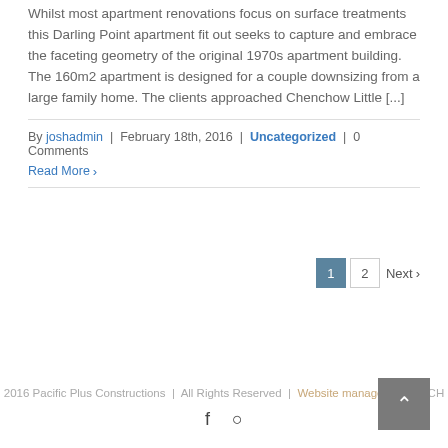Whilst most apartment renovations focus on surface treatments this Darling Point apartment fit out seeks to capture and embrace the faceting geometry of the original 1970s apartment building. The 160m2 apartment is designed for a couple downsizing from a large family home. The clients approached Chenchow Little [...]
By joshadmin | February 18th, 2016 | Uncategorized | 0 Comments
Read More ›
1 2 Next ›
2016 Pacific Plus Constructions | All Rights Reserved | Website management by CH